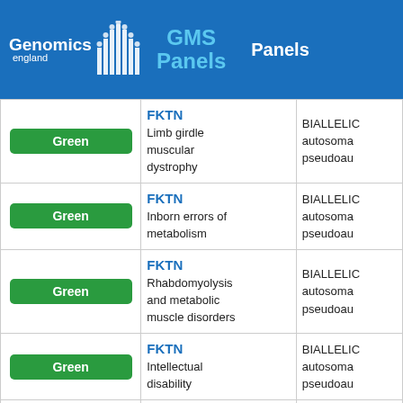Genomics England GMS Panels | Panels
| Rating | Gene / Panel | Mode |
| --- | --- | --- |
| Green | FKTN
Limb girdle muscular dystrophy | BIALLELIC_autosomal_pseudoau... |
| Green | FKTN
Inborn errors of metabolism | BIALLELIC_autosomal_pseudoau... |
| Green | FKTN
Rhabdomyolysis and metabolic muscle disorders | BIALLELIC_autosomal_pseudoau... |
| Green | FKTN
Intellectual disability | BIALLELIC_autosomal_pseudoau... |
| Green | FKTN | BIALLELIC... |